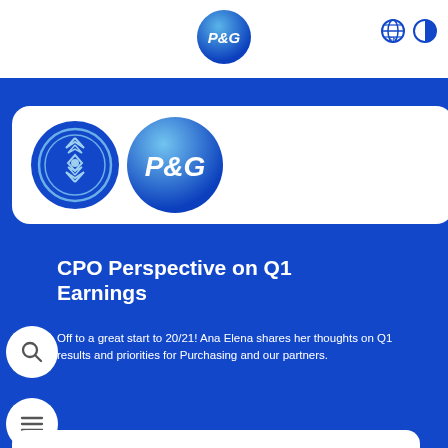[Figure (logo): P&G blue circle logo in page header, center top]
[Figure (logo): Globe/EN language selector icon and contrast toggle icon in top right]
[Figure (logo): White rounded card with two circular logos: a geometric blue badge logo and a P&G blue circle logo]
CPO Perspective on Q1 Earnings
Off to a great start to 20/21! Ana Elena shares her thoughts on Q1 results and priorities for Purchasing and our partners.
[Figure (other): White rounded card at bottom (partially visible)]